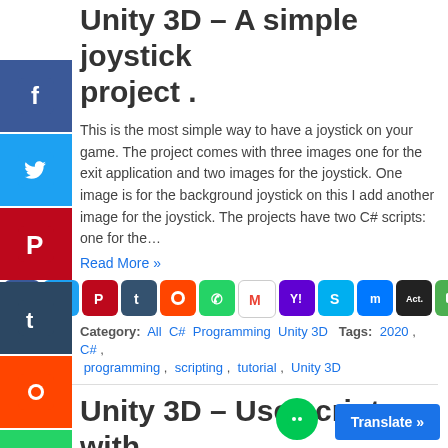Unity 3D – A simple joystick project .
This is the most simple way to have a joystick on your game. The project comes with three images one for the exit application and two images for the joystick. One image is for the background joystick on this I add another image for the joystick. The projects have two C# scripts: one for the…
Read More »
Category:  All  C#  Programming  Unity 3D  Tags:  2020 ,  C# ,  programming ,  scripting ,  tutorial ,  Unity 3D
Unity 3D – Use scripts with Unity editor .